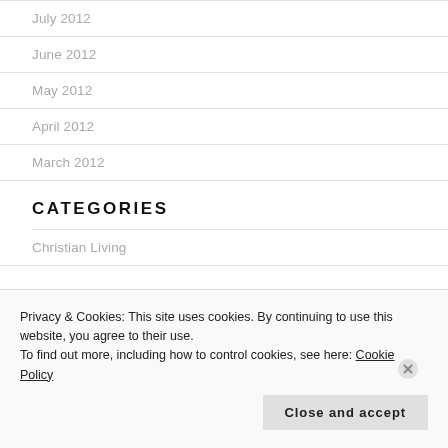July 2012
June 2012
May 2012
April 2012
March 2012
CATEGORIES
Christian Living
Privacy & Cookies: This site uses cookies. By continuing to use this website, you agree to their use.
To find out more, including how to control cookies, see here: Cookie Policy
Close and accept